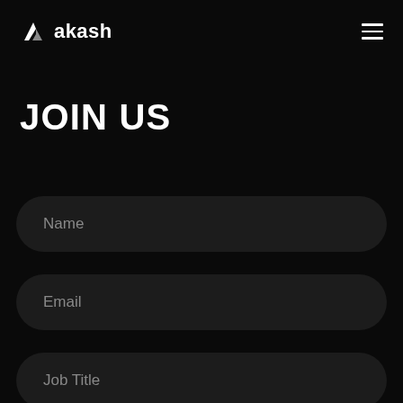akash
JOIN US
Name
Email
Job Title